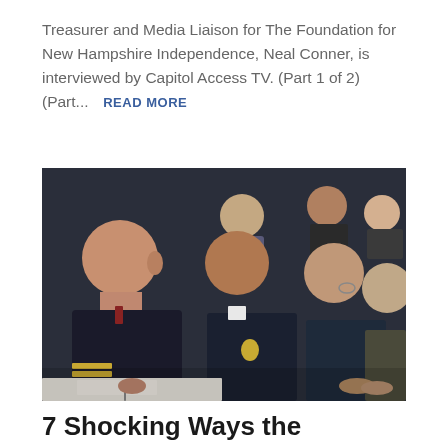Treasurer and Media Liaison for The Foundation for New Hampshire Independence, Neal Conner, is interviewed by Capitol Access TV. (Part 1 of 2)(Part...  READ MORE
[Figure (photo): Several military officials in dress uniforms seated at a table, appearing to testify or present at a formal hearing. Background shows additional observers.]
7 Shocking Ways the